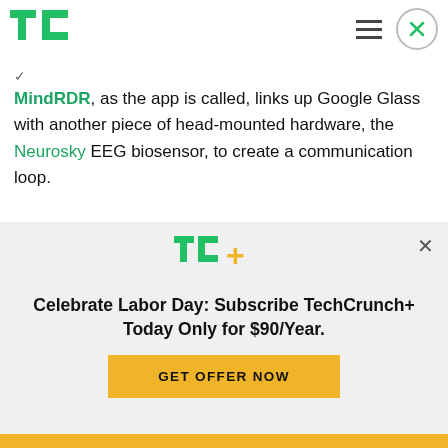TechCrunch - TC logo and navigation
MindRDR, as the app is called, links up Google Glass with another piece of head-mounted hardware, the Neurosky EEG biosensor, to create a communication loop.
The Neurosky biosensor picks up on brainwaves that correlate to your ability to focus. The app then
[Figure (logo): TC+ logo — TechCrunch plus sign in green and yellow]
Celebrate Labor Day: Subscribe TechCrunch+ Today Only for $90/Year.
GET OFFER NOW